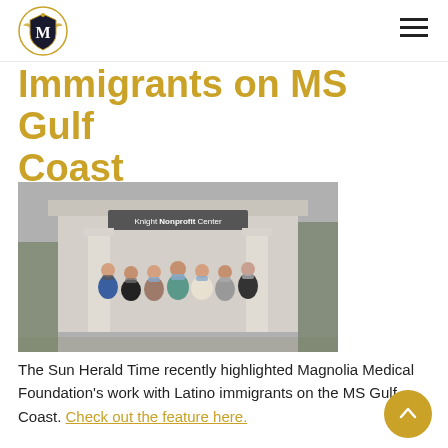[Figure (logo): Magnolia Medical Foundation crest/shield logo in top left of navigation bar]
Immigrants on MS Gulf Coast
[Figure (photo): Group of people wearing face masks standing in front of the Knight Nonprofit Center building entrance with columns]
The Sun Herald Time recently highlighted Magnolia Medical Foundation's work with Latino immigrants on the MS Gulf Coast. Check out the feature here.